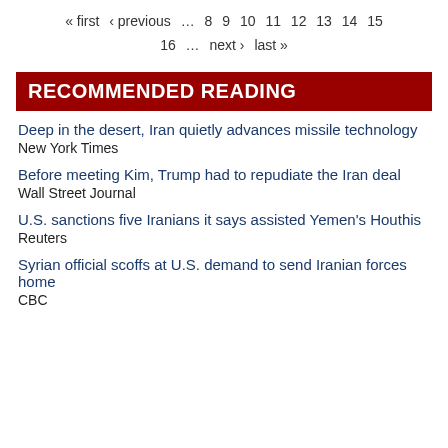« first  ‹ previous  …  8  9  10  11  12  13  14  15  16  …  next ›  last »
RECOMMENDED READING
Deep in the desert, Iran quietly advances missile technology
New York Times
Before meeting Kim, Trump had to repudiate the Iran deal
Wall Street Journal
U.S. sanctions five Iranians it says assisted Yemen's Houthis
Reuters
Syrian official scoffs at U.S. demand to send Iranian forces home
CBC